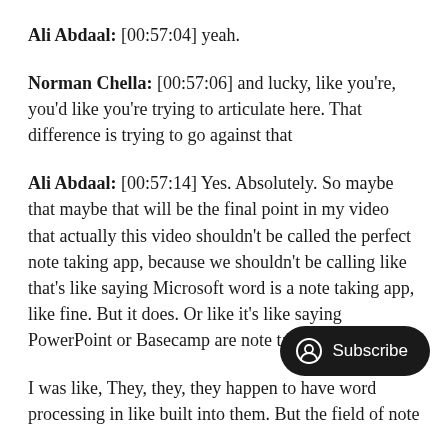Ali Abdaal: [00:57:04] yeah.
Norman Chella: [00:57:06] and lucky, like you're, you'd like you're trying to articulate here. That difference is trying to go against that
Ali Abdaal: [00:57:14] Yes. Absolutely. So maybe that maybe that will be the final point in my video that actually this video shouldn't be called the perfect note taking app, because we shouldn't be calling like that's like saying Microsoft word is a note taking app, like fine. But it does. Or like it's like saying PowerPoint or Basecamp are note taking apps.
I was like, They, they, they happen to have word processing in like built into them. But the field of note